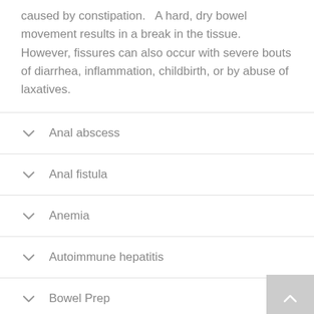caused by constipation.   A hard, dry bowel movement results in a break in the tissue. However, fissures can also occur with severe bouts of diarrhea, inflammation, childbirth, or by abuse of laxatives.
Anal abscess
Anal fistula
Anemia
Autoimmune hepatitis
Bowel Prep
Barrett's Esophagus